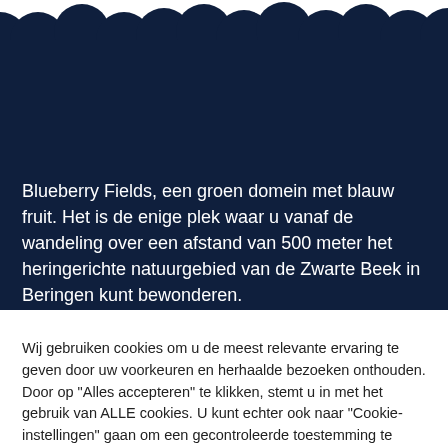[Figure (illustration): Dark navy blue banner with scalloped/cloud-like top edge decoration. Contains Dutch text about Blueberry Fields nature area.]
Blueberry Fields, een groen domein met blauw fruit. Het is de enige plek waar u vanaf de wandeling over een afstand van 500 meter het heringerichte natuurgebied van de Zwarte Beek in Beringen kunt bewonderen.
Wij gebruiken cookies om u de meest relevante ervaring te geven door uw voorkeuren en herhaalde bezoeken onthouden. Door op "Alles accepteren" te klikken, stemt u in met het gebruik van ALLE cookies. U kunt echter ook naar "Cookie-instellingen" gaan om een gecontroleerde toestemming te geven.
Cookie Instellingen | Accepteer alles